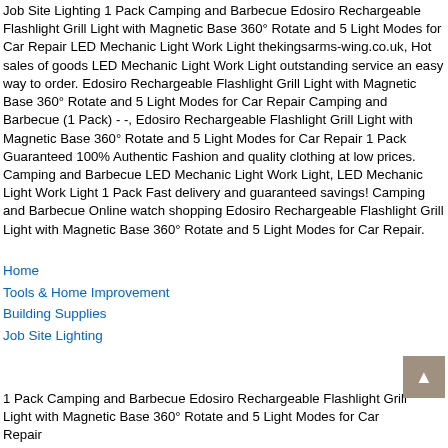Job Site Lighting 1 Pack Camping and Barbecue Edosiro Rechargeable Flashlight Grill Light with Magnetic Base 360° Rotate and 5 Light Modes for Car Repair LED Mechanic Light Work Light thekingsarms-wing.co.uk, Hot sales of goods LED Mechanic Light Work Light outstanding service an easy way to order. Edosiro Rechargeable Flashlight Grill Light with Magnetic Base 360° Rotate and 5 Light Modes for Car Repair Camping and Barbecue (1 Pack) - -, Edosiro Rechargeable Flashlight Grill Light with Magnetic Base 360° Rotate and 5 Light Modes for Car Repair 1 Pack Guaranteed 100% Authentic Fashion and quality clothing at low prices. Camping and Barbecue LED Mechanic Light Work Light, LED Mechanic Light Work Light 1 Pack Fast delivery and guaranteed savings! Camping and Barbecue Online watch shopping Edosiro Rechargeable Flashlight Grill Light with Magnetic Base 360° Rotate and 5 Light Modes for Car Repair.
Home
Tools & Home Improvement
Building Supplies
Job Site Lighting
1 Pack Camping and Barbecue Edosiro Rechargeable Flashlight Grill Light with Magnetic Base 360° Rotate and 5 Light Modes for Car Repair